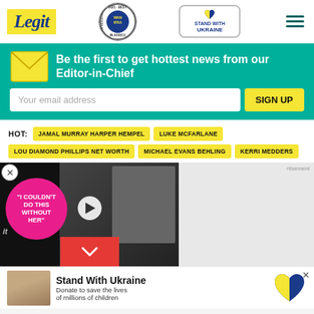Legit — WAN IFRA 2021 Best News Website in Africa — Stand With Ukraine
Be the first to get hottest news from our Editor-in-Chief
Your email address — SIGN UP
HOT: JAMAL MURRAY HARPER HEMPEL  LUKE MCFARLANE  LOU DIAMOND PHILLIPS NET WORTH  MICHAEL EVANS BEHLING  KERRI MEDDERS
[Figure (screenshot): Video thumbnail with play button, pink circle text 'I COULDN'T DO THIS WITHOUT HER', man and woman in background, red chevron dismiss button]
rtisement
[Figure (infographic): Stand With Ukraine ad — Donate to save the lives of millions of children, with Ukrainian flag heart logo and close button]